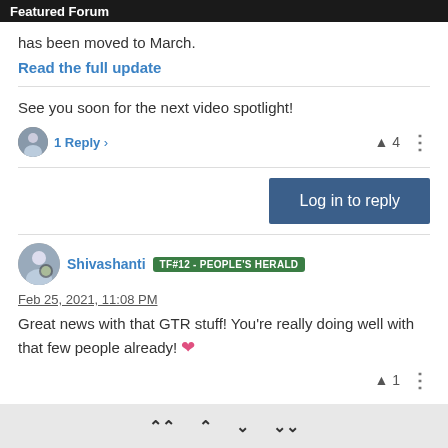Featured Forum
has been moved to March.
Read the full update
See you soon for the next video spotlight!
1 Reply ›   ▲ 4  ⋮
Log in to reply
Shivashanti  TF#12 - PEOPLE'S HERALD  Feb 25, 2021, 11:08 PM
Great news with that GTR stuff! You're really doing well with that few people already! ❤
▲ 1  ⋮
⋀ ∧ ∨ ⋁